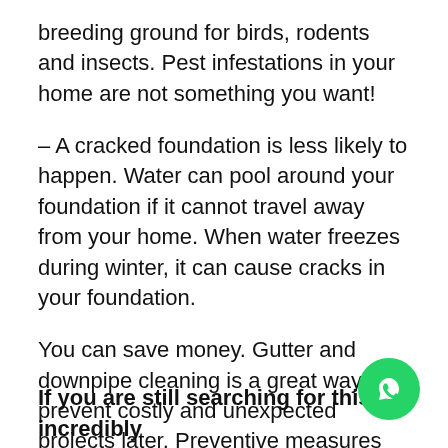breeding ground for birds, rodents and insects. Pest infestations in your home are not something you want!
– A cracked foundation is less likely to happen. Water can pool around your foundation if it cannot travel away from your home. When water freezes during winter, it can cause cracks in your foundation.
You can save money. Gutter and downpipe cleaning is a great way to prevent costly and unexpected projects later. Preventive measures can reduce the chance of your roof being damaged or replaced.
If you are still searching for this incredibly